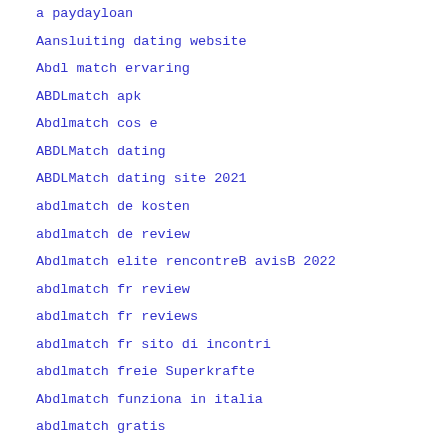a paydayloan
Aansluiting dating website
Abdl match ervaring
ABDLmatch apk
Abdlmatch cos e
ABDLMatch dating
ABDLMatch dating site 2021
abdlmatch de kosten
abdlmatch de review
Abdlmatch elite rencontreB avisB 2022
abdlmatch fr review
abdlmatch fr reviews
abdlmatch fr sito di incontri
abdlmatch freie Superkrafte
Abdlmatch funziona in italia
abdlmatch gratis